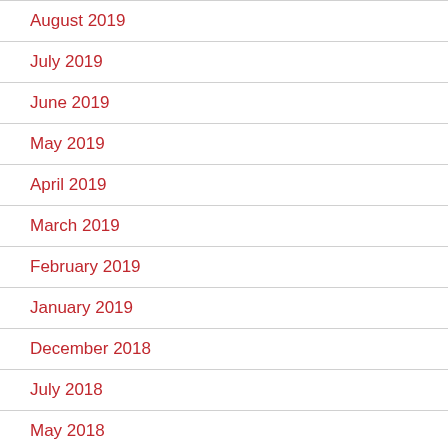August 2019
July 2019
June 2019
May 2019
April 2019
March 2019
February 2019
January 2019
December 2018
July 2018
May 2018
April 2018
March 2018